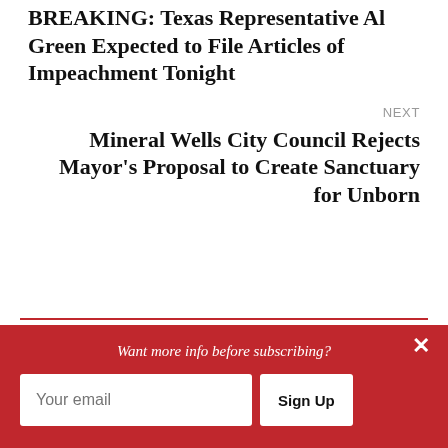BREAKING: Texas Representative Al Green Expected to File Articles of Impeachment Tonight
NEXT
Mineral Wells City Council Rejects Mayor's Proposal to Create Sanctuary for Unborn
The Texan's Podcast
Want more info before subscribing?
Your email
Sign Up